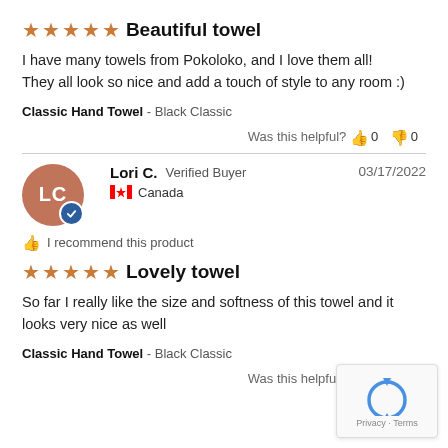★★★★★ Beautiful towel
I have many towels from Pokoloko, and I love them all! They all look so nice and add a touch of style to any room :)
Classic Hand Towel - Black Classic
Was this helpful? 👍 0 👎 0
Lori C. Verified Buyer 03/17/2022 Canada
I recommend this product
★★★★★ Lovely towel
So far I really like the size and softness of this towel and it looks very nice as well
Classic Hand Towel - Black Classic
Was this helpful? 👍 0 👎 0